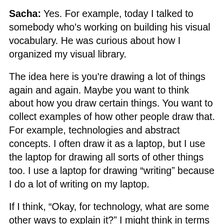Sacha: Yes. For example, today I talked to somebody who's working on building his visual vocabulary. He was curious about how I organized my visual library.
The idea here is you're drawing a lot of things again and again. Maybe you want to think about how you draw certain things. You want to collect examples of how other people draw that. For example, technologies and abstract concepts. I often draw it as a laptop, but I use the laptop for drawing all sorts of other things too. I use a laptop for drawing “writing” because I do a lot of writing on my laptop.
If I think, “Okay, for technology, what are some other ways to explain it?” I might think in terms of chips, I might think in terms of desktop computers. You’re building this visual vocabulary. Sometimes people talk to me over Google Helpouts for tips on building their visual vocabulary. Sometimes people talk to me… “All right, this